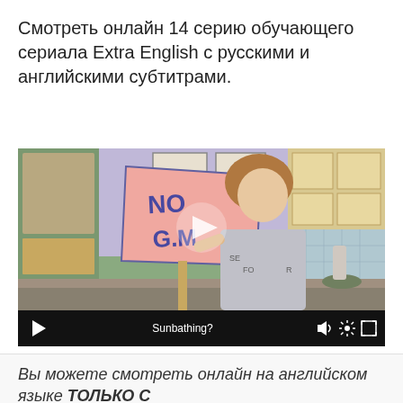Смотреть онлайн 14 серию обучающего сериала Extra English с русскими и английскими субтитрами.
[Figure (screenshot): Video player screenshot showing a woman holding a pink sign that reads 'No G.M' in a kitchen setting. The video controls bar at the bottom shows a play button on the left, subtitle text 'Sunbathing?' in the center, and volume/settings/fullscreen icons on the right.]
Вы можете смотреть онлайн на английском языке ТОЛЬКО С